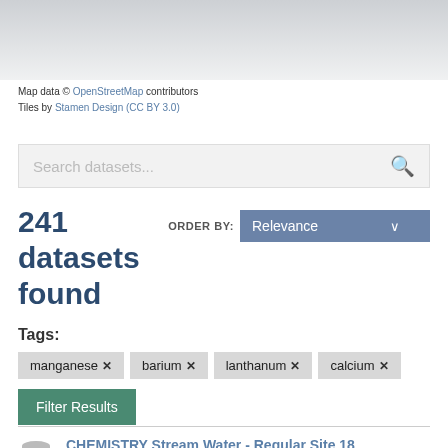[Figure (map): Greyed-out map background banner at top of page]
Map data © OpenStreetMap contributors
Tiles by Stamen Design (CC BY 3.0)
Search datasets...
241 datasets found
ORDER BY: Relevance
Tags:
manganese ×
barium ×
lanthanum ×
calcium ×
Filter Results
CHEMISTRY Stream Water - Regular Site 18 (Varstugbäcken) 2015-01-30 - 2020-1...